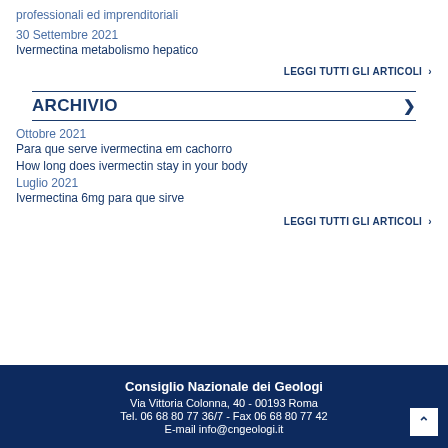professionali ed imprenditoriali
30 Settembre 2021
Ivermectina metabolismo hepatico
LEGGI TUTTI GLI ARTICOLI ›
ARCHIVIO ›
Ottobre 2021
Para que serve ivermectina em cachorro
How long does ivermectin stay in your body
Luglio 2021
Ivermectina 6mg para que sirve
LEGGI TUTTI GLI ARTICOLI ›
Consiglio Nazionale dei Geologi
Via Vittoria Colonna, 40 - 00193 Roma
Tel. 06 68 80 77 36/7 - Fax 06 68 80 77 42
E-mail info@cngeologi.it